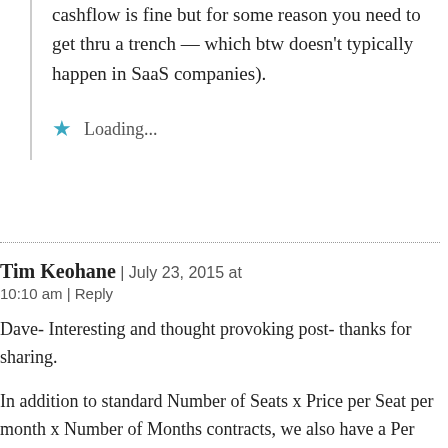cashflow is fine but for some reason you need to get thru a trench — which btw doesn't typically happen in SaaS companies).
Loading...
Tim Keohane | July 23, 2015 at 10:10 am | Reply
Dave- Interesting and thought provoking post- thanks for sharing.
In addition to standard Number of Seats x Price per Seat per month x Number of Months contracts, we also have a Per User Per Month contract approach with some clients. How would you think about